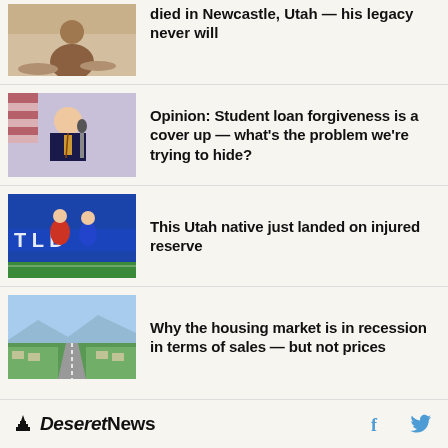[Figure (photo): Partial photo of a person crouching outdoors on rocky ground]
died in Newcastle, Utah — his legacy never will
[Figure (photo): Photo of Joe Biden speaking at a podium]
Opinion: Student loan forgiveness is a cover up — what's the problem we're trying to hide?
[Figure (photo): Football players on a field with blue banner reading 'T L D']
This Utah native just landed on injured reserve
[Figure (photo): Aerial photo of suburban neighborhood with highway]
Why the housing market is in recession in terms of sales — but not prices
Deseret News  [Facebook]  [Twitter]